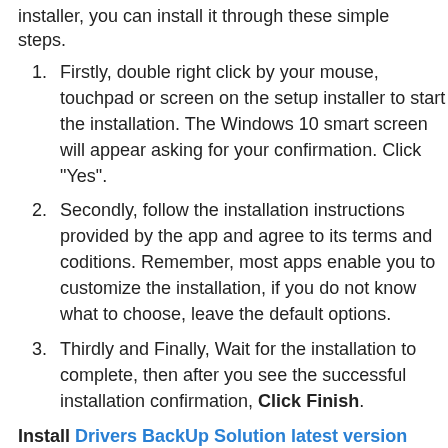installer, you can install it through these simple steps.
Firstly, double right click by your mouse, touchpad or screen on the setup installer to start the installation. The Windows 10 smart screen will appear asking for your confirmation. Click "Yes".
Secondly, follow the installation instructions provided by the app and agree to its terms and coditions. Remember, most apps enable you to customize the installation, if you do not know what to choose, leave the default options.
Thirdly and Finally, Wait for the installation to complete, then after you see the successful installation confirmation, Click Finish.
Install Drivers BackUp Solution latest version
Install Mirekusoft Install Monitor latest version
How to Uninstall IP Camera Viewer from